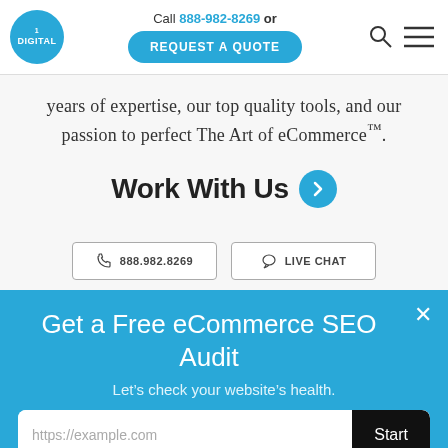[Figure (logo): 1Digital logo — white text on blue circle]
Call 888-982-8269 or REQUEST A QUOTE
[Figure (other): Search and hamburger menu icons]
years of expertise, our top quality tools, and our passion to perfect The Art of eCommerce™.
Work With Us ❯
☎ 888.982.8269   💬 LIVE CHAT
Get a Free eCommerce SEO Audit
Let's check your website's health.
https://example.com   Start